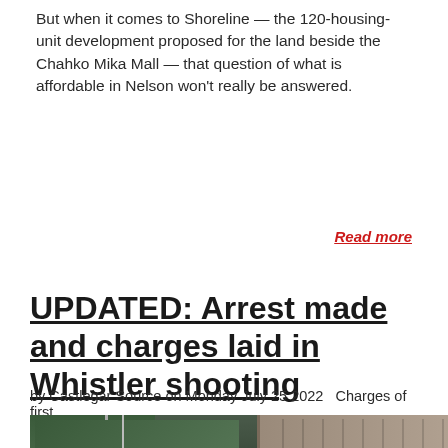But when it comes to Shoreline — the 120-housing-unit development proposed for the land beside the Chahko Mika Mall — that question of what is affordable in Nelson won't really be answered.
Read more
UPDATED: Arrest made and charges laid in Whistler shooting
by Castlegar Source on Monday July 25 2022  Charges of first
[Figure (photo): Street scene with a stop sign, a police light bar on a vehicle, a road intersection, and a building in the background at dusk or night.]